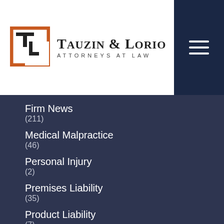[Figure (logo): Tauzin & Lorio Attorneys at Law logo with orange and black square icon]
Firm News (211)
Medical Malpractice (46)
Personal Injury (2)
Premises Liability (35)
Product Liability (7)
Truck Accidents (27)